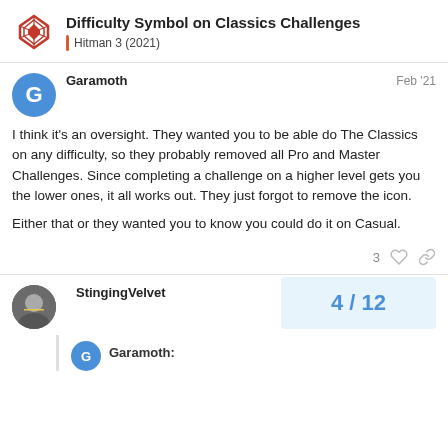Difficulty Symbol on Classics Challenges | Hitman 3 (2021)
Garamoth Feb '21
I think it's an oversight. They wanted you to be able do The Classics on any difficulty, so they probably removed all Pro and Master Challenges. Since completing a challenge on a higher level gets you the lower ones, it all works out. They just forgot to remove the icon.

Either that or they wanted you to know you could do it on Casual.
3
StingingVelvet Feb '21
Garamoth:
4 / 12